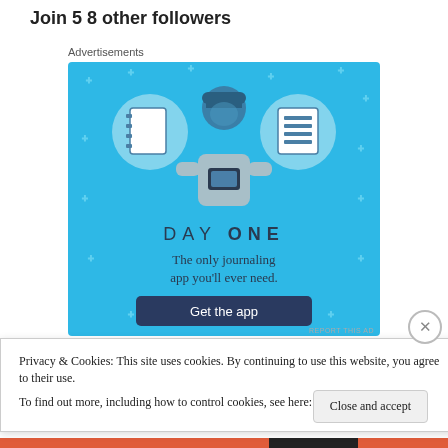Join 58 other followers
Advertisements
[Figure (illustration): Day One journaling app advertisement. Light blue background with illustration of a person holding a phone, flanked by two circular icons of notebooks. Text reads 'DAY ONE – The only journaling app you'll ever need.' with a dark blue 'Get the app' button.]
Privacy & Cookies: This site uses cookies. By continuing to use this website, you agree to their use.
To find out more, including how to control cookies, see here: Cookie Policy
Close and accept